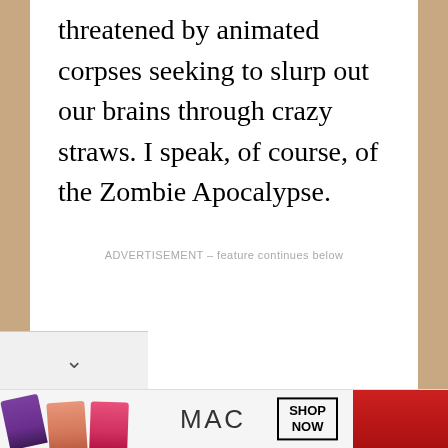threatened by animated corpses seeking to slurp out our brains through crazy straws. I speak, of course, of the Zombie Apocalypse.
ADVERTISEMENT – feature continues below
[Figure (photo): MAC cosmetics advertisement banner with lipsticks, MAC logo, SHOP NOW button, and a red lipstick on the right side.]